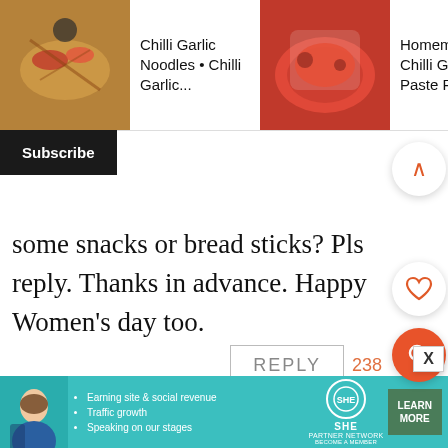[Figure (screenshot): Top navigation bar with three recipe thumbnails: Chilli Garlic Noodles, Homemade Chilli Garlic Paste Recipe, Green Chutney / Pacha Mila with arrow]
Chilli Garlic Noodles • Chilli Garlic...
Homemade Chilli Garlic Paste Recipe
Green Chutney / Pacha Mila
Subscribe
some snacks or bread sticks? Pls reply. Thanks in advance. Happy Women's day too.
REPLY
238
Aarthi
[Figure (screenshot): Ad banner for SHE Partner Network with woman, bullet points: Earning site & social revenue, Traffic growth, Speaking on our stages. Includes LEARN MORE button.]